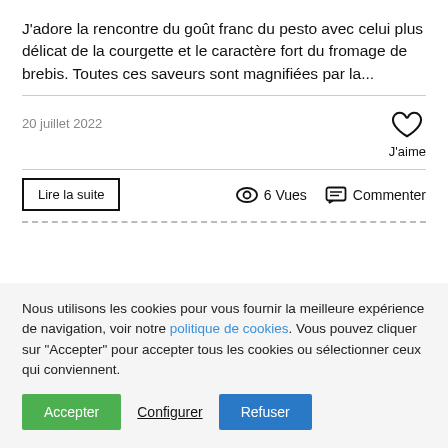J'adore la rencontre du goût franc du pesto avec celui plus délicat de la courgette et le caractère fort du fromage de brebis. Toutes ces saveurs sont magnifiées par la...
20 juillet 2022
J'aime
Lire la suite
6 Vues
Commenter
Nous utilisons les cookies pour vous fournir la meilleure expérience de navigation, voir notre politique de cookies. Vous pouvez cliquer sur "Accepter" pour accepter tous les cookies ou sélectionner ceux qui conviennent.
Accepter
Configurer
Refuser